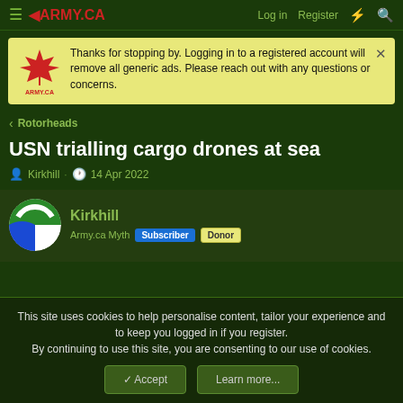ARMY.CA | Log in | Register
Thanks for stopping by. Logging in to a registered account will remove all generic ads. Please reach out with any questions or concerns.
< Rotorheads
USN trialling cargo drones at sea
Kirkhill · 14 Apr 2022
Kirkhill
Army.ca Myth  Subscriber  Donor
This site uses cookies to help personalise content, tailor your experience and to keep you logged in if you register.
By continuing to use this site, you are consenting to our use of cookies.